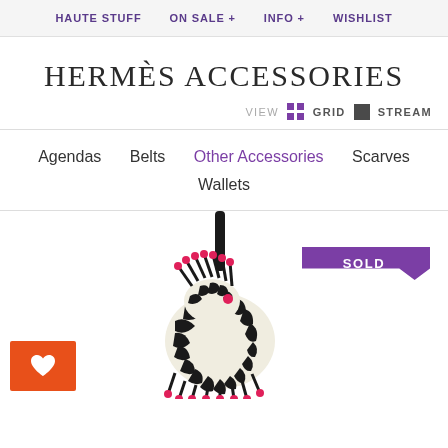HAUTE STUFF   ON SALE +   INFO +   WISHLIST
HERMÈS ACCESSORIES
VIEW  GRID  STREAM
Agendas   Belts   Other Accessories   Scarves
Wallets
[Figure (photo): Hermès zebra leather bag charm/key holder with black and white striped body, pink accents, and black handle top. Shown with a purple SOLD banner in the top right corner and an orange heart/wishlist button in the bottom left.]